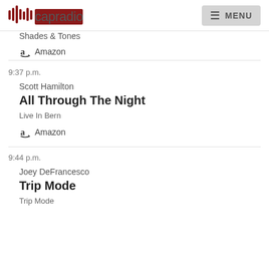capradio MENU
Shades & Tones
Amazon
9:37 p.m.
Scott Hamilton
All Through The Night
Live In Bern
Amazon
9:44 p.m.
Joey DeFrancesco
Trip Mode
Trip Mode